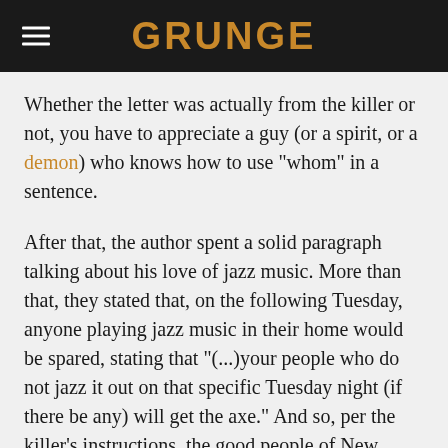GRUNGE
Whether the letter was actually from the killer or not, you have to appreciate a guy (or a spirit, or a demon) who knows how to use "whom" in a sentence.
After that, the author spent a solid paragraph talking about his love of jazz music. More than that, they stated that, on the following Tuesday, anyone playing jazz music in their home would be spared, stating that "(...)your people who do not jazz it out on that specific Tuesday night (if there be any) will get the axe." And so, per the killer's instructions, the good people of New Orleans jazzed it out. Jazz clubs were filled to capacity on that Tuesday. No murders were reported. Again, the killer was